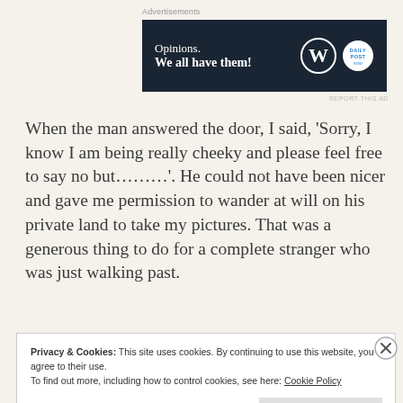[Figure (screenshot): Advertisement banner with dark navy background. Left side shows text 'Opinions. We all have them!' in white. Right side shows WordPress 'W' logo and a circular logo.]
When the man answered the door, I said, 'Sorry, I know I am being really cheeky and please feel free to say no but………'. He could not have been nicer and gave me permission to wander at will on his private land to take my pictures. That was a generous thing to do for a complete stranger who was just walking past.
Privacy & Cookies: This site uses cookies. By continuing to use this website, you agree to their use.
To find out more, including how to control cookies, see here: Cookie Policy
Close and accept